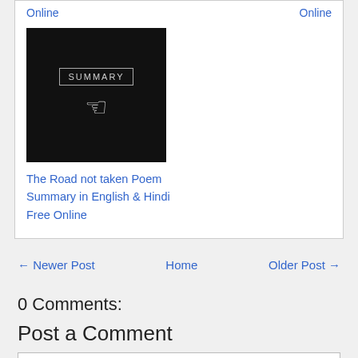Online
Online
[Figure (screenshot): Black thumbnail image with a button labeled SUMMARY and a hand cursor icon below it]
The Road not taken Poem Summary in English & Hindi Free Online
← Newer Post
Home
Older Post →
0 Comments:
Post a Comment
To leave a comment, click the button below to sign in with Google.